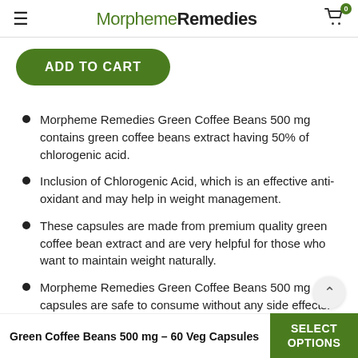MorphemeRemedies
Morpheme Remedies Green Coffee Beans 500 mg contains green coffee beans extract having 50% of chlorogenic acid.
Inclusion of Chlorogenic Acid, which is an effective anti-oxidant and may help in weight management.
These capsules are made from premium quality green coffee bean extract and are very helpful for those who want to maintain weight naturally.
Morpheme Remedies Green Coffee Beans 500 mg capsules are safe to consume without any side effects.
Green Coffee Beans 500 mg – 60 Veg Capsules
SELECT OPTIONS